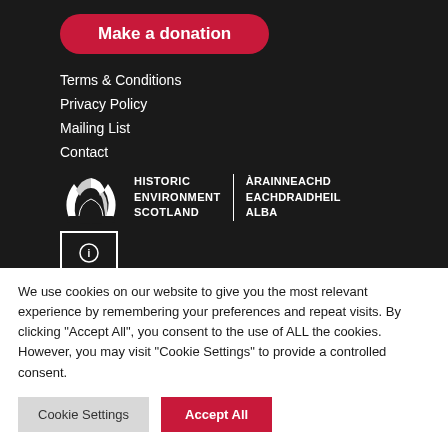Make a donation
Terms & Conditions
Privacy Policy
Mailing List
Contact
[Figure (logo): Historic Environment Scotland logo with fan/arch symbol and bilingual text: HISTORIC ENVIRONMENT SCOTLAND | ÀRAINNEACHD EACHDRAIDHEIL ALBA]
We use cookies on our website to give you the most relevant experience by remembering your preferences and repeat visits. By clicking "Accept All", you consent to the use of ALL the cookies. However, you may visit "Cookie Settings" to provide a controlled consent.
Cookie Settings | Accept All